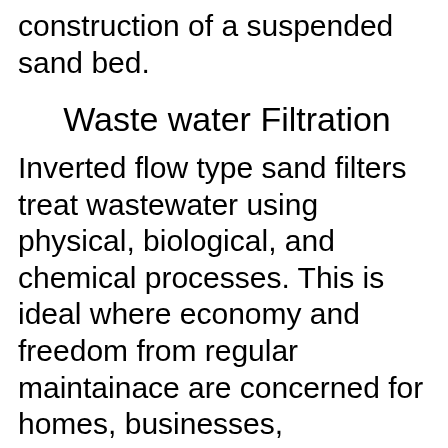construction of a suspended sand bed.
Waste water Filtration
Inverted flow type sand filters treat wastewater using physical, biological, and chemical processes. This is ideal where economy and freedom from regular maintainace are concerned for homes, businesses, institutions, and small residential communities. Also it is the best option where septic tanks and